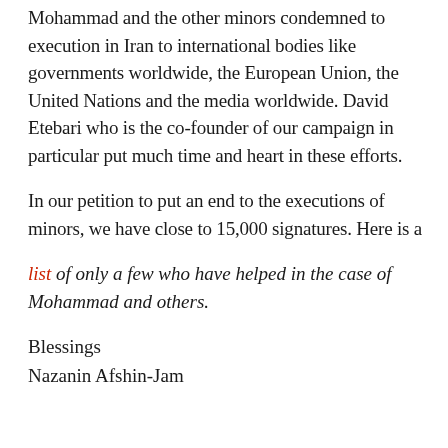Mohammad and the other minors condemned to execution in Iran to international bodies like governments worldwide, the European Union, the United Nations and the media worldwide. David Etebari who is the co-founder of our campaign in particular put much time and heart in these efforts.
In our petition to put an end to the executions of minors, we have close to 15,000 signatures. Here is a
list of only a few who have helped in the case of Mohammad and others.
Blessings
Nazanin Afshin-Jam